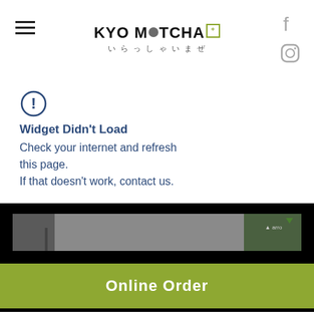KYO MATCHA いらっしゃいませ
[Figure (illustration): Exclamation mark inside a circle, warning icon]
Widget Didn't Load
Check your internet and refresh this page.
If that doesn't work, contact us.
[Figure (photo): Street scene video still showing motorcyclists riding down a narrow urban alley]
Online Order